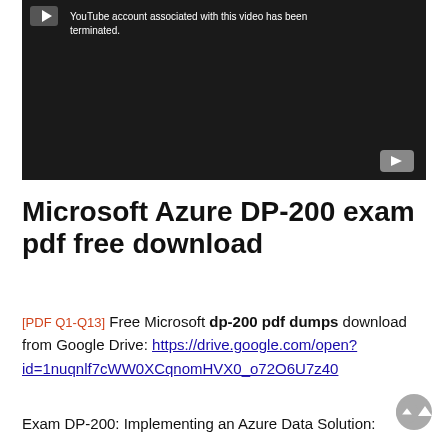[Figure (screenshot): YouTube video player showing error message: YouTube account associated with this video has been terminated. Dark background with YouTube icon in bottom right.]
Microsoft Azure DP-200 exam pdf free download
[PDF Q1-Q13] Free Microsoft dp-200 pdf dumps download from Google Drive: https://drive.google.com/open?id=1nuqnlf7cWW0XCqnomHVX0_o72O6U7z40
Exam DP-200: Implementing an Azure Data Solution: